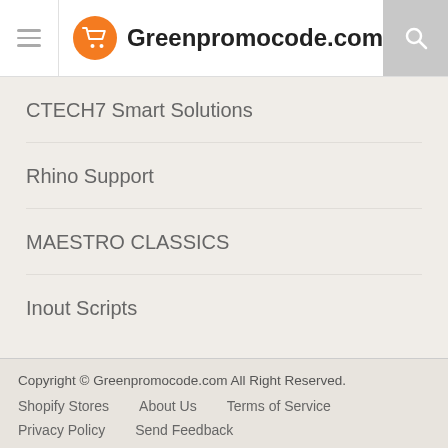Greenpromocode.com
CTECH7 Smart Solutions
Rhino Support
MAESTRO CLASSICS
Inout Scripts
Copyright © Greenpromocode.com All Right Reserved. Shopify Stores About Us Terms of Service Privacy Policy Send Feedback